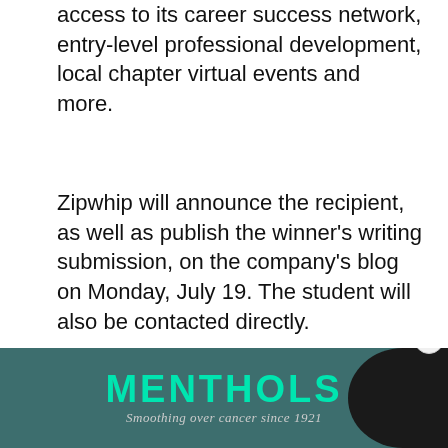access to its career success network, entry-level professional development, local chapter virtual events and more.
Zipwhip will announce the recipient, as well as publish the winner's writing submission, on the company's blog on Monday, July 19. The student will also be contacted directly.
For eligibility information and instructions on how to apply, visit Zipwhip.com/scholarship. The deadline is June 14.
Zipwhip is a business-texting platform helping
[Figure (photo): Advertisement banner for MENTHOLS with tagline 'Smoothing over cancer since 1921' on a teal/dark background with a dark circular element on the right.]